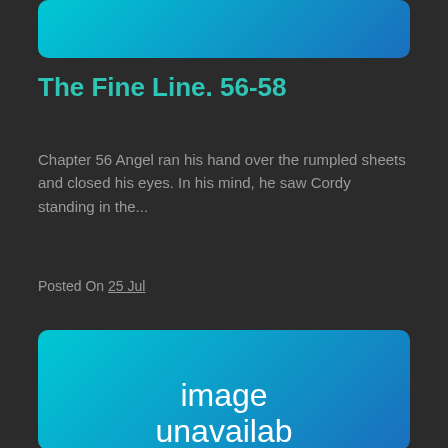[Figure (other): Teal to blue gradient rounded rectangle card image (partially cropped at top)]
The Fine Line. 56-58
Chapter 56 Angel ran his hand over the rumpled sheets and closed his eyes. In his mind, he saw Cordy standing in the...
Posted On 25 Jul
[Figure (other): Teal to blue gradient rounded rectangle card with 'image unavailable' text (partially cropped at bottom)]